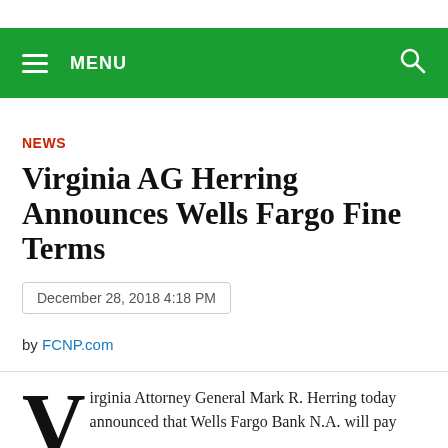MENU
NEWS
Virginia AG Herring Announces Wells Fargo Fine Terms
December 28, 2018 4:18 PM
by FCNP.com
Virginia Attorney General Mark R. Herring today announced that Wells Fargo Bank N.A. will pay